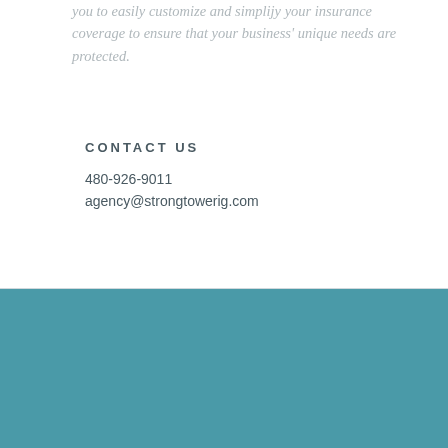you to easily customize and simplify your insurance coverage to ensure that your business' unique needs are protected.
CONTACT US
480-926-9011
agency@strongtowerig.com
[Figure (illustration): Accessibility widget icon showing a person with arms outstretched in a circle, teal background with rounded bottom-right corner]
Reporting an insurance claim should be easy. With us, it is.
REPORT A CLAIM